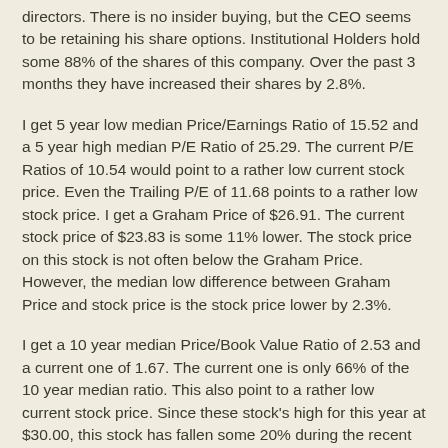directors. There is no insider buying, but the CEO seems to be retaining his share options. Institutional Holders hold some 88% of the shares of this company. Over the past 3 months they have increased their shares by 2.8%.
I get 5 year low median Price/Earnings Ratio of 15.52 and a 5 year high median P/E Ratio of 25.29. The current P/E Ratios of 10.54 would point to a rather low current stock price. Even the Trailing P/E of 11.68 points to a rather low stock price. I get a Graham Price of $26.91. The current stock price of $23.83 is some 11% lower. The stock price on this stock is not often below the Graham Price. However, the median low difference between Graham Price and stock price is the stock price lower by 2.3%.
I get a 10 year median Price/Book Value Ratio of 2.53 and a current one of 1.67. The current one is only 66% of the 10 year median ratio. This also point to a rather low current stock price. Since these stock's high for this year at $30.00, this stock has fallen some 20% during the recent volatility in the stock market.